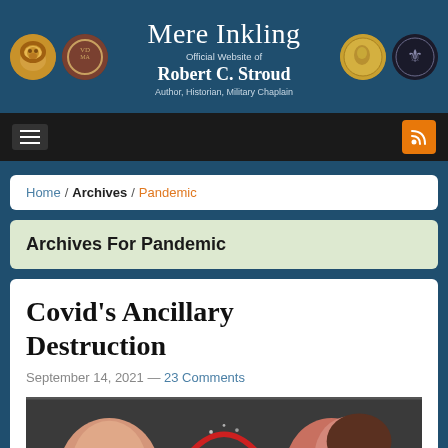Mere Inkling — Official Website of Robert C. Stroud — Author, Historian, Military Chaplain
Home / Archives / Pandemic
Archives For Pandemic
Covid's Ancillary Destruction
September 14, 2021 — 23 Comments
[Figure (illustration): A partial illustration showing two figures, cropped at the bottom of the page]